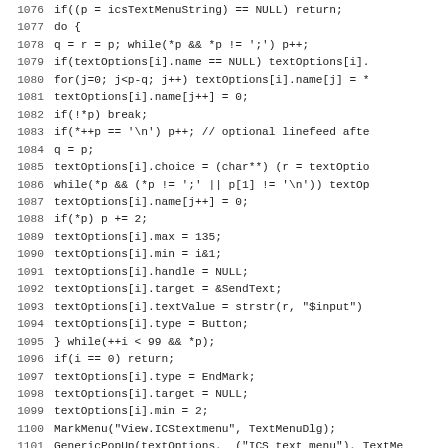[Figure (other): Source code listing in C, lines 1076-1107, showing ICS text menu string parsing and IcsTextProc function definition]